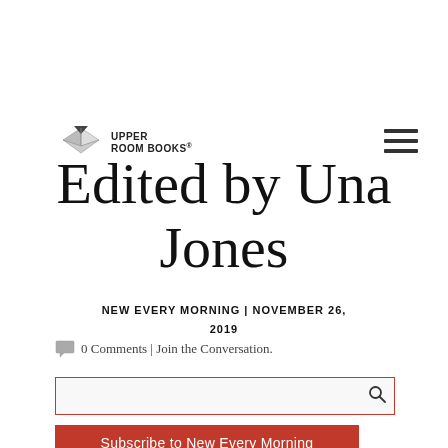[Figure (logo): Upper Room Books logo with open book icon and text 'UPPER ROOM BOOKS']
[Figure (other): Hamburger menu icon (three horizontal lines) in top right]
Edited by Una Jones
NEW EVERY MORNING | NOVEMBER 26, 2019
0 Comments | Join the Conversation.
[Figure (other): Search input box with magnifying glass icon]
Subscribe to New Every Morning